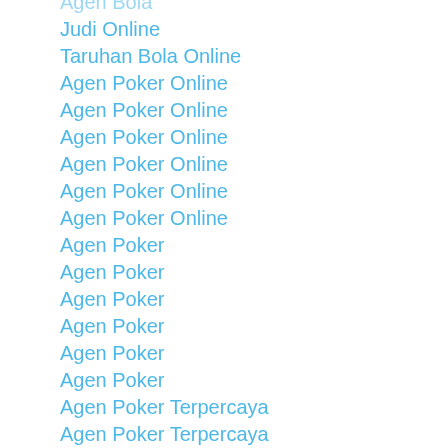Agen Bola
Judi Online
Taruhan Bola Online
Agen Poker Online
Agen Poker Online
Agen Poker Online
Agen Poker Online
Agen Poker Online
Agen Poker Online
Agen Poker
Agen Poker
Agen Poker
Agen Poker
Agen Poker
Agen Poker
Agen Poker Terpercaya
Agen Poker Terpercaya
Agen Poker Terpercaya
Agen Poker Terpercaya
Agen Poker Terpercaya
Agen Poker Terpercaya
Judi Bola
Judi Bola